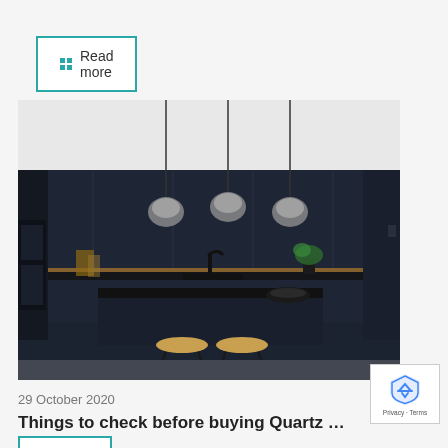Read more
[Figure (photo): Modern dark kitchen with black cabinetry, wood-topped island, two bar stools, three pendant lights with chrome globe shades, and warm under-cabinet lighting.]
29 October 2020
Things to check before buying Quartz Workt...